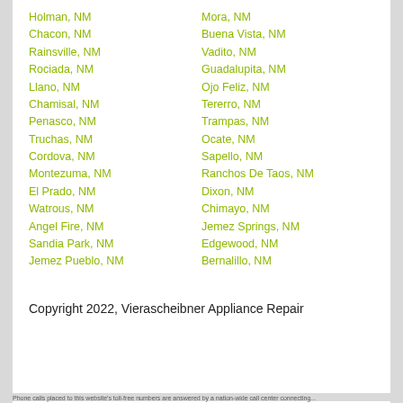Holman, NM
Chacon, NM
Rainsville, NM
Rociada, NM
Llano, NM
Chamisal, NM
Penasco, NM
Truchas, NM
Cordova, NM
Montezuma, NM
El Prado, NM
Watrous, NM
Angel Fire, NM
Sandia Park, NM
Jemez Pueblo, NM
Mora, NM
Buena Vista, NM
Vadito, NM
Guadalupita, NM
Ojo Feliz, NM
Tererro, NM
Trampas, NM
Ocate, NM
Sapello, NM
Ranchos De Taos, NM
Dixon, NM
Chimayo, NM
Jemez Springs, NM
Edgewood, NM
Bernalillo, NM
Copyright 2022, Vierascheibner Appliance Repair
Phone calls placed to this website's toll-free numbers are answered by a nation-wide call center connecting...